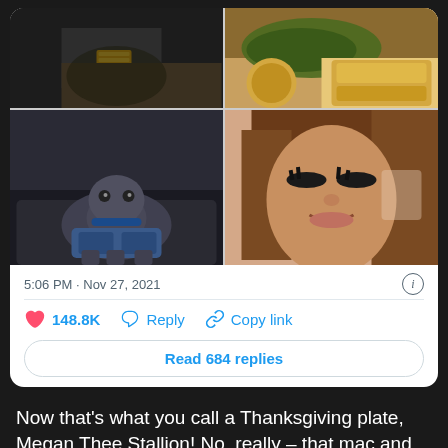[Figure (photo): Twitter/X tweet card with a 2x2 photo grid showing: top-left (legs in high heels, black outfit with chain bag), top-right (Thanksgiving food plate with collard greens and mac and cheese), bottom-left (a blue French Bulldog in denim outfit on couch), bottom-right (close-up of Megan Thee Stallion smiling)]
5:06 PM · Nov 27, 2021
148.8K  Reply  Copy link
Read 684 replies
Now that's what you call a Thanksgiving plate, Megan Thee Stallion! No, really – that mac and cheese and those collard greens got me feeling some type of way! Oh, and can we talk about how freaking cute Megan's furbabies Foe and Oneita are looking in their matching denim outfits?